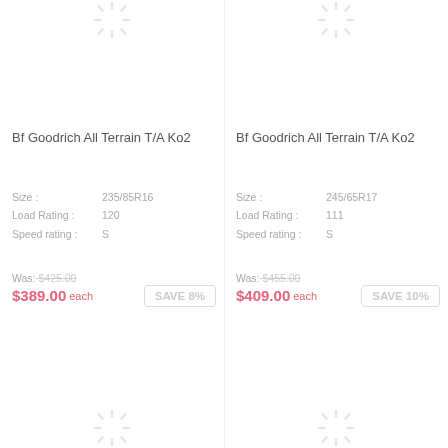[Figure (illustration): Loading spinner icon top-center of left column]
Bf Goodrich All Terrain T/A Ko2
Size : 235/85R16
Load Rating : 120
Speed rating : S
Was: $425.00
$389.00 each
SAVE 8%
[Figure (illustration): Loading spinner icon bottom-center of left column]
[Figure (illustration): Loading spinner icon top-center of right column]
Bf Goodrich All Terrain T/A Ko2
Size : 245/65R17
Load Rating : 111
Speed rating : S
Was: $455.00
$409.00 each
SAVE 10%
[Figure (illustration): Loading spinner icon bottom-center of right column]